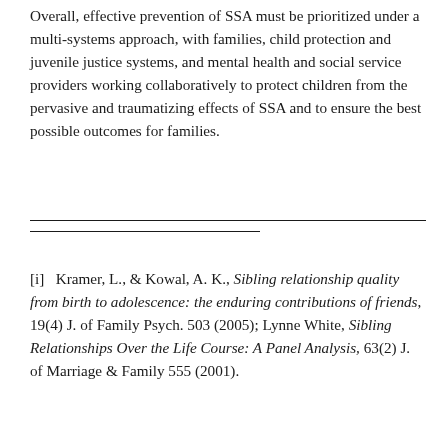Overall, effective prevention of SSA must be prioritized under a multi-systems approach, with families, child protection and juvenile justice systems, and mental health and social service providers working collaboratively to protect children from the pervasive and traumatizing effects of SSA and to ensure the best possible outcomes for families.
[i]   Kramer, L., & Kowal, A. K., Sibling relationship quality from birth to adolescence: the enduring contributions of friends, 19(4) J. of Family Psych. 503 (2005); Lynne White, Sibling Relationships Over the Life Course: A Panel Analysis, 63(2) J. of Marriage & Family 555 (2001).